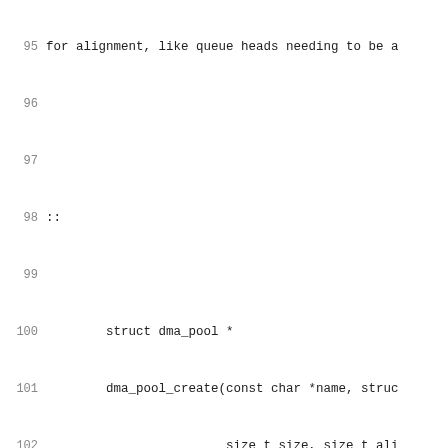95  for alignment, like queue heads needing to be a
96
97
98  ::
99
100         struct dma_pool *
101         dma_pool_create(const char *name, struc
102                         size_t size, size_t ali
103
104 dma_pool_create() initializes a pool of DMA-cohe
105 for use with a given device.  It must be called
106 can sleep.
107
108 The "name" is for diagnostics (like a struct kmc
109 are like what you'd pass to dma_alloc_coherent(
110 alignment requirement for this type of data is
111 in bytes, and must be a power of two).  If your
112 crossing restrictions, pass 0 for alloc; passing
113 from this pool must not cross 4KByte boundaries
114
115 ::
116